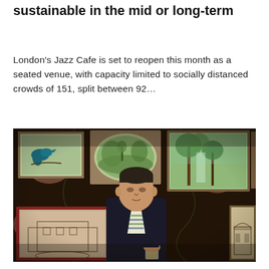sustainable in the mid or long-term
London's Jazz Cafe is set to reopen this month as a seated venue, with capacity limited to socially distanced crowds of 151, split between 92...
[Figure (photo): A man in a dark suit with a striped scarf/tie stands in front of a wall covered with framed paintings and floral wallpaper, holding a glass.]